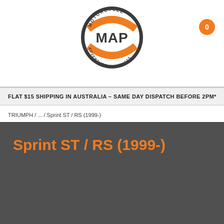Motorcycle MAP Adventure Products — logo header with cart badge showing 0
FLAT $15 SHIPPING IN AUSTRALIA – SAME DAY DISPATCH BEFORE 2PM*
TRIUMPH / ... / Sprint ST / RS (1999-)
Sprint ST / RS (1999-)